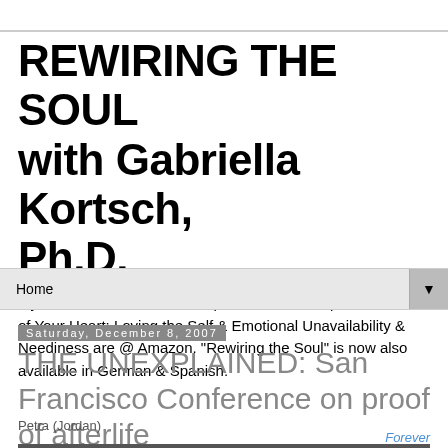REWIRING THE SOUL with Gabriella Kortsch, Ph.D.
My other books: The Tao of Spiritual Partnership & The Power of Your Heart: Loving the Self & Emotional Unavailability & Neediness are @ Amazon. "Rewiring the Soul" is now also available in German & Spanish.
Home ▼
Saturday, December 8, 2007
THE UNEXPLAINED: San Francisco Conference on proof of afterlife
Petra (Jordan)
Forever